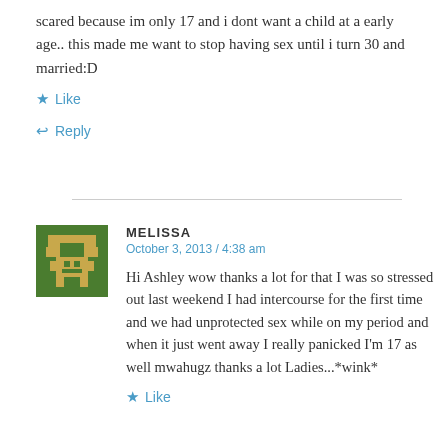scared because im only 17 and i dont want a child at a early age.. this made me want to stop having sex until i turn 30 and married:D
★ Like
↩ Reply
MELISSA
October 3, 2013 / 4:38 am
Hi Ashley wow thanks a lot for that I was so stressed out last weekend I had intercourse for the first time and we had unprotected sex while on my period and when it just went away I really panicked I'm 17 as well mwahugz thanks a lot Ladies...*wink*
★ Like